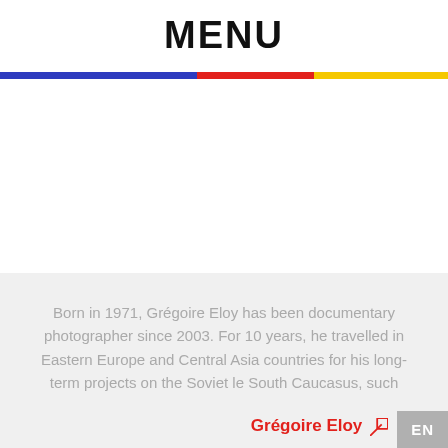MENU
[Figure (infographic): Horizontal tricolor bar: blue (left ~44%), red (middle ~26%), yellow (right ~30%)]
Born in 1971, Grégoire Eloy has been documentary photographer since 2003. For 10 years, he travelled in Eastern Europe and Central Asia countries for his long-term projects on the Soviet le South Caucasus, such
Grégoire Eloy ↗
EN